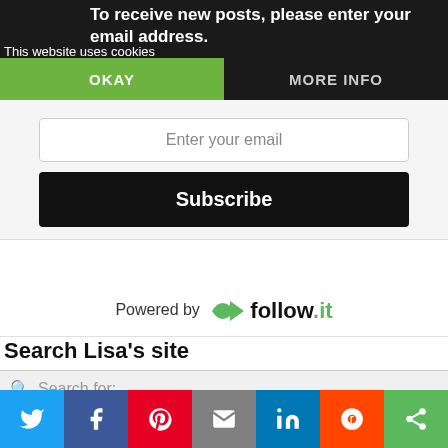To receive new posts, please enter your email address.
This website uses cookies
OKAY
MORE INFO
Enter your email
Subscribe
Powered by follow.it
Search Lisa's site
Search for:
[Figure (screenshot): Partial view of a Bible-related image with dark red rounded rectangle shape and text 'Bibl...']
[Figure (infographic): Social sharing bar with icons: Twitter (blue), Facebook (dark blue), Pinterest (red), Email (grey), LinkedIn (blue), Reddit (orange), Copy (green)]